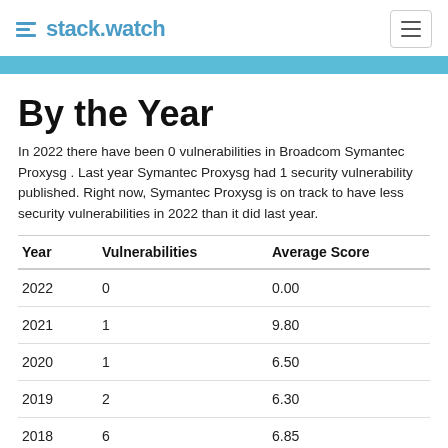stack.watch
By the Year
In 2022 there have been 0 vulnerabilities in Broadcom Symantec Proxysg . Last year Symantec Proxysg had 1 security vulnerability published. Right now, Symantec Proxysg is on track to have less security vulnerabilities in 2022 than it did last year.
| Year | Vulnerabilities | Average Score |
| --- | --- | --- |
| 2022 | 0 | 0.00 |
| 2021 | 1 | 9.80 |
| 2020 | 1 | 6.50 |
| 2019 | 2 | 6.30 |
| 2018 | 6 | 6.85 |